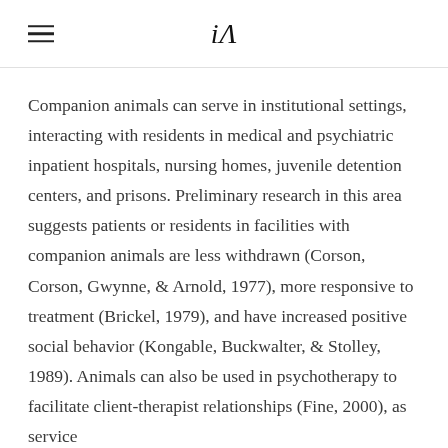iΛ
Companion animals can serve in institutional settings, interacting with residents in medical and psychiatric inpatient hospitals, nursing homes, juvenile detention centers, and prisons. Preliminary research in this area suggests patients or residents in facilities with companion animals are less withdrawn (Corson, Corson, Gwynne, & Arnold, 1977), more responsive to treatment (Brickel, 1979), and have increased positive social behavior (Kongable, Buckwalter, & Stolley, 1989). Animals can also be used in psychotherapy to facilitate client-therapist relationships (Fine, 2000), as service